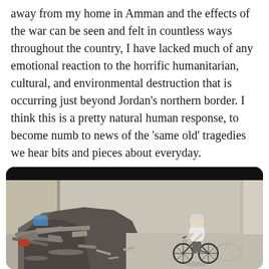away from my home in Amman and the effects of the war can be seen and felt in countless ways throughout the country, I have lacked much of any emotional reaction to the horrific humanitarian, cultural, and environmental destruction that is occurring just beyond Jordan's northern border. I think this is a pretty natural human response, to become numb to news of the 'same old' tragedies we hear bits and pieces about everyday.
[Figure (photo): An elderly man on a bicycle riding through rubble and debris in a war-damaged street, surrounded by destroyed building materials and waste.]